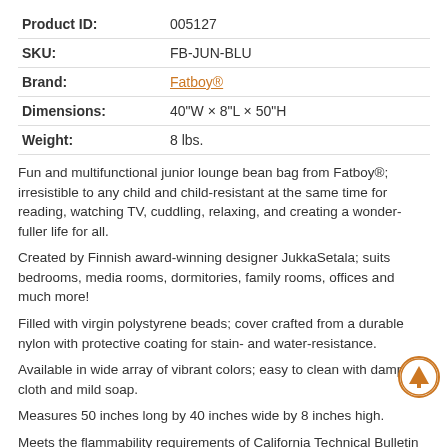| Product ID: | 005127 |
| SKU: | FB-JUN-BLU |
| Brand: | Fatboy® |
| Dimensions: | 40"W × 8"L × 50"H |
| Weight: | 8 lbs. |
Fun and multifunctional junior lounge bean bag from Fatboy®; irresistible to any child and child-resistant at the same time for reading, watching TV, cuddling, relaxing, and creating a wonder-fuller life for all.
Created by Finnish award-winning designer JukkaSetala; suits bedrooms, media rooms, dormitories, family rooms, offices and much more!
Filled with virgin polystyrene beads; cover crafted from a durable nylon with protective coating for stain- and water-resistance.
Available in wide array of vibrant colors; easy to clean with damp cloth and mild soap.
Measures 50 inches long by 40 inches wide by 8 inches high.
Meets the flammability requirements of California Technical Bulletin 117 Section A, Part III, flammability of resilient expanded polystyrene beads used in upholstered furniture.